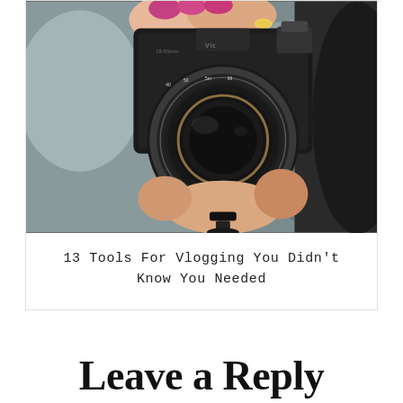[Figure (photo): Close-up photo of a woman's hands holding a DSLR camera with a large lens, pink fingernails and a ring visible, blurred background]
13 Tools For Vlogging You Didn't Know You Needed
Leave a Reply